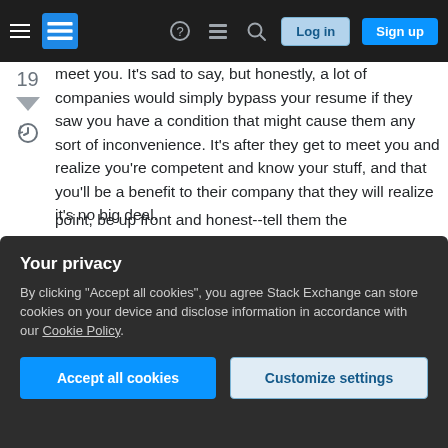Stack Exchange navigation bar with hamburger menu, logo, help, chat, search icons, Log in and Sign up buttons
meet you. It's sad to say, but honestly, a lot of companies would simply bypass your resume if they saw you have a condition that might cause them any sort of inconvenience. It's after they get to meet you and realize you're competent and know your stuff, and that you'll be a benefit to their company that they will realize it's no big deal.

If it's a bigger company, with a more professional HR department that has perhaps had experience dealing with the issues, perhaps they'll be easier to
Your privacy
By clicking "Accept all cookies", you agree Stack Exchange can store cookies on your device and disclose information in accordance with our Cookie Policy.
Accept all cookies
Customize settings
point, be up front and honest--tell them the